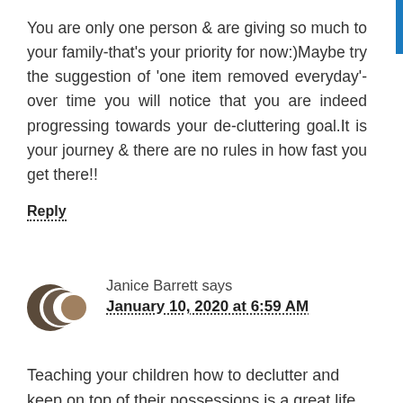You are only one person & are giving so much to your family-that's your priority for now:)Maybe try the suggestion of 'one item removed everyday'-over time you will notice that you are indeed progressing towards your de-cluttering goal.It is your journey & there are no rules in how fast you get there!!
Reply
Janice Barrett says
January 10, 2020 at 6:59 AM
Teaching your children how to declutter and keep on top of their possessions is a great life skill. No